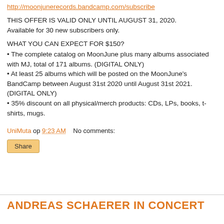http://moonjunerecords.bandcamp.com/subscribe
THIS OFFER IS VALID ONLY UNTIL AUGUST 31, 2020. Available for 30 new subscribers only.
WHAT YOU CAN EXPECT FOR $150?
• The complete catalog on MoonJune plus many albums associated with MJ, total of 171 albums. (DIGITAL ONLY)
• At least 25 albums which will be posted on the MoonJune's BandCamp between August 31st 2020 until August 31st 2021. (DIGITAL ONLY)
• 35% discount on all physical/merch products: CDs, LPs, books, t-shirts, mugs.
UniMuta op 9:23 AM    No comments:
ANDREAS SCHAERER IN CONCERT